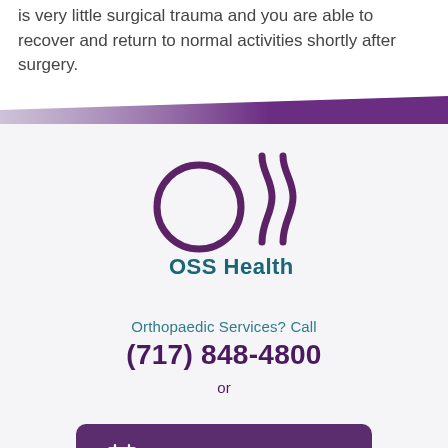is very little surgical trauma and you are able to recover and return to normal activities shortly after surgery.
[Figure (logo): OSS Health logo with circle and two curved lines resembling steam/waves, with text 'OSS Health' in teal below]
Orthopaedic Services? Call
(717) 848-4800
or
Request An Appointment